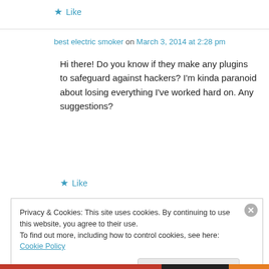★ Like
best electric smoker on March 3, 2014 at 2:28 pm
Hi there! Do you know if they make any plugins to safeguard against hackers? I'm kinda paranoid about losing everything I've worked hard on. Any suggestions?
★ Like
Privacy & Cookies: This site uses cookies. By continuing to use this website, you agree to their use. To find out more, including how to control cookies, see here: Cookie Policy
Close and accept